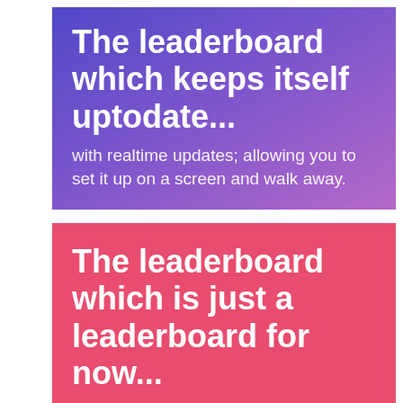The leaderboard which keeps itself uptodate...
with realtime updates; allowing you to set it up on a screen and walk away.
The leaderboard which is just a leaderboard for now...